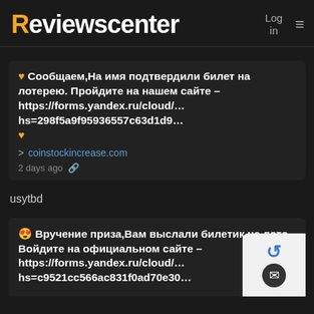Reviewscenter | Log in ≡
🧡 Сообщаем,На имя подтвердили билет на лотерею. Пройдите на нашем сайте – https://forms.yandex.ru/cloud/… hs=298f5a9f95936557c63d1d9… 🧡
> coinstockincrease.com
2 days ago 🔗
usytbd
😍 Вручение приза,Вам выслали билетик на лото. Войдите на официальном сайте – https://forms.yandex.ru/cloud/… hs=c9521cc566ac831f0ad70e30…